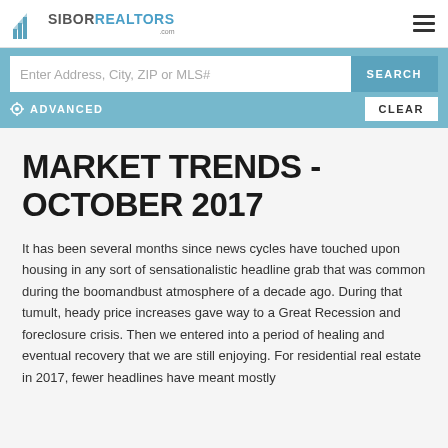SIBOR REALTORS .com
Enter Address, City, ZIP or MLS#
SEARCH
ADVANCED
CLEAR
MARKET TRENDS - OCTOBER 2017
It has been several months since news cycles have touched upon housing in any sort of sensationalistic headline grab that was common during the boomandbust atmosphere of a decade ago. During that tumult, heady price increases gave way to a Great Recession and foreclosure crisis. Then we entered into a period of healing and eventual recovery that we are still enjoying. For residential real estate in 2017, fewer headlines have meant mostly